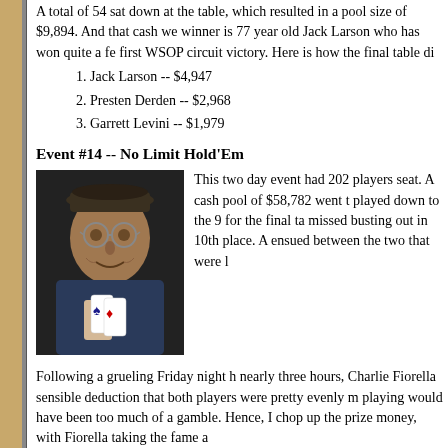A total of 54 sat down at the table, which resulted in a pool size of $9,894. And that cash we winner is 77 year old Jack Larson who has won quite a fe first WSOP circuit victory. Here is how the final table di
1. Jack Larson -- $4,947
2. Presten Derden -- $2,968
3. Garrett Levini -- $1,979
Event #14 -- No Limit Hold'Em
[Figure (photo): Man with glasses wearing a dark shirt, holding two playing cards, smiling at camera]
This two day event had 202 players seat. A cash pool of $58,782 went t played down to the 9 for the final ta missed busting out in 10th place. A ensued between the two that were l
Following a grueling Friday night h nearly three hours, Charlie Fiorella sensible deduction that both players were pretty evenly m playing would have been too much of a gamble. Hence, I chop up the prize money, with Fiorella taking the fame a
1. Charlie Fiorella -- $16,227.00
2. Rip Fritzer -- $9,758
3. J.R. Hamilton -- $6,642
4. David Robinson -- $4,526
5. Neal Cooke -- $3,351
6. Matt Luther -- $2,645